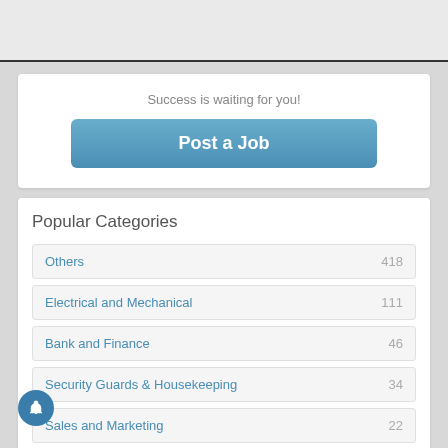Success is waiting for you!
Post a Job
Popular Categories
Others  418
Electrical and Mechanical  111
Bank and Finance  46
Security Guards & Housekeeping  34
Sales and Marketing  22
Education and Training  18
Back Office and Receptionist  12